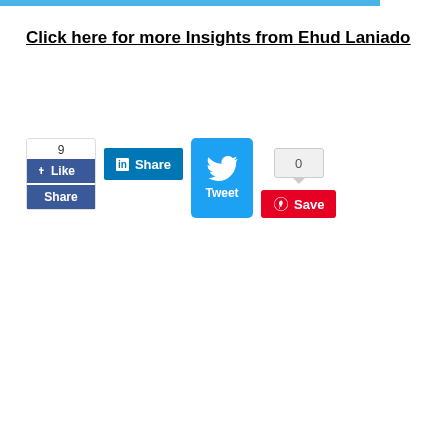Click here for more Insights from Ehud Laniado
[Figure (screenshot): Social sharing buttons: Facebook Like/Share (count 9), LinkedIn Share, Twitter Tweet button, Twitter count (0), Pinterest Save button]
Stay Informed
When you subscribe to the blog, we will send you an e-mail when there are new updates on the site so you wouldn't miss them.
Your Name